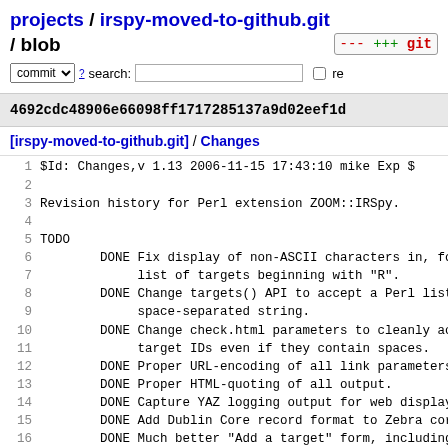projects / irspy-moved-to-github.git / blob
commit search: re
4692cdc48906e66098ff1717285137a9d02eef1d
[irspy-moved-to-github.git] / Changes
1  $Id: Changes,v 1.13 2006-11-15 17:43:10 mike Exp $
2
3  Revision history for Perl extension ZOOM::IRSpy.
4
5  TODO
6         DONE Fix display of non-ASCII characters in, fo
7               list of targets beginning with "R".
8         DONE Change targets() API to accept a Perl list
9               space-separated string.
10        DONE Change check.html parameters to cleanly ac
11              target IDs even if they contain spaces.
12        DONE Proper URL-encoding of all link parameters
13        DONE Proper HTML-quoting of all output.
14        DONE Capture YAZ logging output for web display
15        DONE Add Dublin Core record format to Zebra cor
16        DONE Much better "Add a target" form, including
17              - Name
18              - URL to hosting organisation
19              - Email to technical contact
20              - Username/password if needed
21              - Type of library/Acquiring Dublin ...